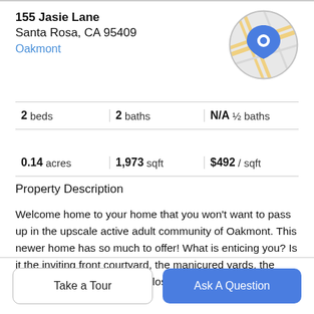155 Jasie Lane
Santa Rosa, CA 95409
Oakmont
[Figure (map): Circular map thumbnail with a blue location pin marker over a road map of the area.]
2 beds | 2 baths | N/A ½ baths
0.14 acres | 1,973 sqft | $492 / sqft
Property Description
Welcome home to your home that you won't want to pass up in the upscale active adult community of Oakmont. This newer home has so much to offer! What is enticing you? Is it the inviting front courtyard, the manicured yards, the plantation shutters, walk-in closet, high ceilings, gas